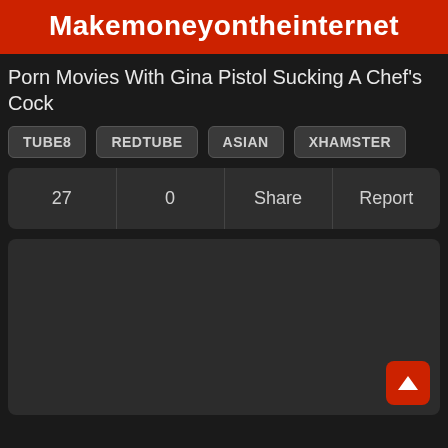Makemoneyontheinternet
Porn Movies With Gina Pistol Sucking A Chef's Cock
TUBE8
REDTUBE
ASIAN
XHAMSTER
| 27 | 0 | Share | Report |
[Figure (other): Dark video player area placeholder]